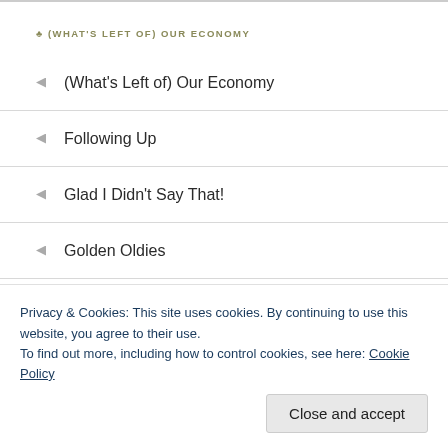(WHAT'S LEFT OF) OUR ECONOMY
(What's Left of) Our Economy
Following Up
Glad I Didn't Say That!
Golden Oldies
Guest Posts
Housekeeping
Housekeeping
Im-Politic
In the News
Privacy & Cookies: This site uses cookies. By continuing to use this website, you agree to their use.
To find out more, including how to control cookies, see here: Cookie Policy
Close and accept